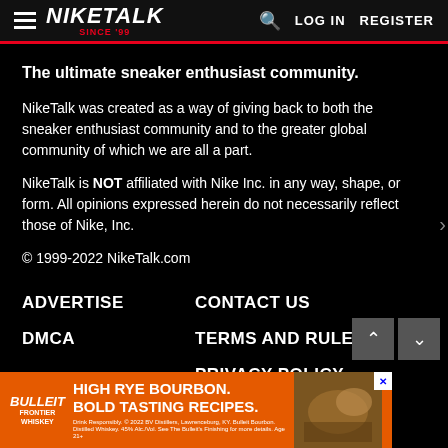NikeTalk Since '99 — LOG IN  REGISTER
The ultimate sneaker enthusiast community.
NikeTalk was created as a way of giving back to both the sneaker enthusiast community and to the greater global community of which we are all a part.
NikeTalk is NOT affiliated with Nike Inc. in any way, shape, or form. All opinions expressed herein do not necessarily reflect those of Nike, Inc.
© 1999-2022 NikeTalk.com
ADVERTISE
CONTACT US
DMCA
TERMS AND RULES
PRIVACY POLICY
[Figure (screenshot): Bulleit Bourbon advertisement banner: orange background with Bulleit logo, text 'HIGH RYE BOURBON. BOLD TASTING RECIPES.' and food/drink imagery on the right]
SHARE